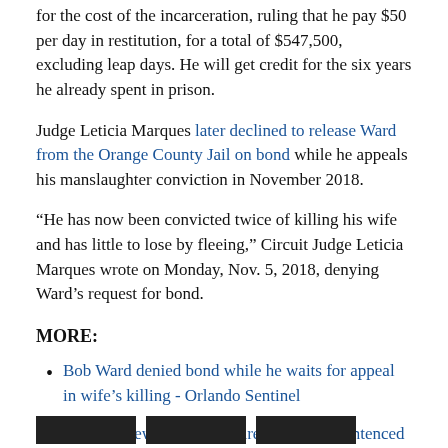for the cost of the incarceration, ruling that he pay $50 per day in restitution, for a total of $547,500, excluding leap days. He will get credit for the six years he already spent in prison.
Judge Leticia Marques later declined to release Ward from the Orange County Jail on bond while he appeals his manslaughter conviction in November 2018.
“He has now been convicted twice of killing his wife and has little to lose by fleeing,” Circuit Judge Leticia Marques wrote on Monday, Nov. 5, 2018, denying Ward’s request for bond.
MORE:
Bob Ward denied bond while he waits for appeal in wife’s killing - Orlando Sentinel
Former Isleworth millionaire Bob Ward sentenced to 30 years in prison - Orlando Sentinel